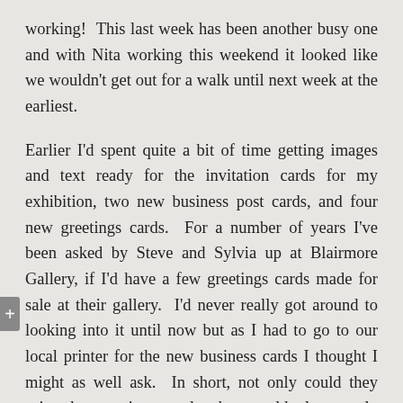working!  This last week has been another busy one and with Nita working this weekend it looked like we wouldn't get out for a walk until next week at the earliest.
Earlier I'd spent quite a bit of time getting images and text ready for the invitation cards for my exhibition, two new business post cards, and four new greetings cards.  For a number of years I've been asked by Steve and Sylvia up at Blairmore Gallery, if I'd have a few greetings cards made for sale at their gallery.  I'd never really got around to looking into it until now but as I had to go to our local printer for the new business cards I thought I might as well ask.  In short, not only could they print the greetings cards, they could also supply them with envelopes and packed in clear cellophane bags.  I've decided to have four different...